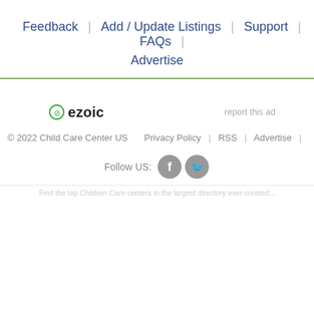Feedback | Add / Update Listings | Support | FAQs | Advertise
[Figure (logo): Ezoic logo with green circular icon and bold text 'ezoic']
report this ad
© 2022 Child Care Center US    Privacy Policy  |  RSS  |  Advertise  |
Follow US:
[Figure (other): Facebook and Twitter social media icons (grey circles)]
Find the top Children Care centers in the largest directory ever created...